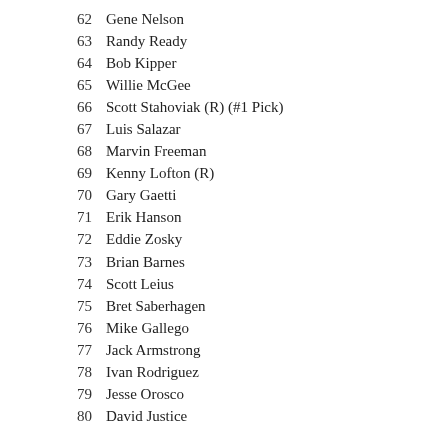62  Gene Nelson
63  Randy Ready
64  Bob Kipper
65  Willie McGee
66  Scott Stahoviak (R) (#1 Pick)
67  Luis Salazar
68  Marvin Freeman
69  Kenny Lofton (R)
70  Gary Gaetti
71  Erik Hanson
72  Eddie Zosky
73  Brian Barnes
74  Scott Leius
75  Bret Saberhagen
76  Mike Gallego
77  Jack Armstrong
78  Ivan Rodriguez
79  Jesse Orosco
80  David Justice